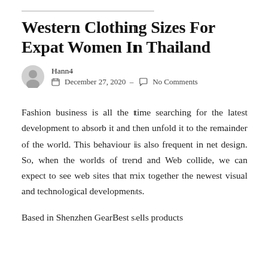Western Clothing Sizes For Expat Women In Thailand
Hann4
December 27, 2020  -  No Comments
Fashion business is all the time searching for the latest development to absorb it and then unfold it to the remainder of the world. This behaviour is also frequent in net design. So, when the worlds of trend and Web collide, we can expect to see web sites that mix together the newest visual and technological developments.
Based in Shenzhen GearBest sells products